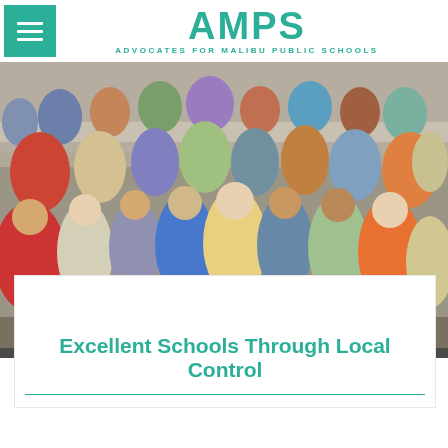AMPS — ADVOCATES FOR MALIBU PUBLIC SCHOOLS
[Figure (photo): Group photo of children and adults sitting on bleachers or steps outdoors]
E-Newsletter Week: September 23
View this email in your browser
Excellent Schools Through Local Control